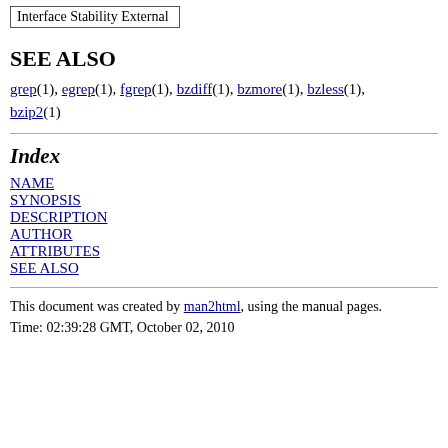| Interface Stability External |
SEE ALSO
grep(1), egrep(1), fgrep(1), bzdiff(1), bzmore(1), bzless(1), bzip2(1)
Index
NAME
SYNOPSIS
DESCRIPTION
AUTHOR
ATTRIBUTES
SEE ALSO
This document was created by man2html, using the manual pages. Time: 02:39:28 GMT, October 02, 2010